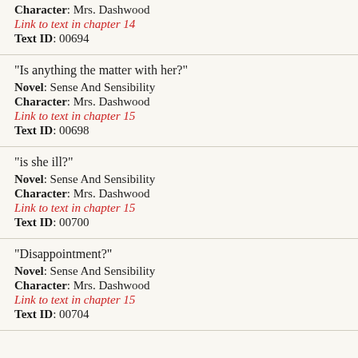Character: Mrs. Dashwood
Link to text in chapter 14
Text ID: 00694
"Is anything the matter with her?"
Novel: Sense And Sensibility
Character: Mrs. Dashwood
Link to text in chapter 15
Text ID: 00698
"is she ill?"
Novel: Sense And Sensibility
Character: Mrs. Dashwood
Link to text in chapter 15
Text ID: 00700
"Disappointment?"
Novel: Sense And Sensibility
Character: Mrs. Dashwood
Link to text in chapter 15
Text ID: 00704